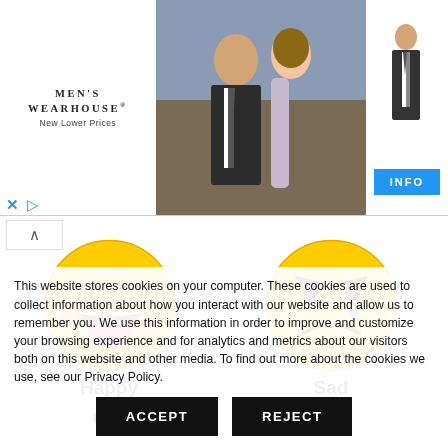[Figure (screenshot): Men's Wearhouse advertisement banner showing couple in wedding attire and man in suit, with INFO button]
[Figure (illustration): Happy emoji face (laughing with eyes closed) labeled 'Happy' with 0% below]
[Figure (illustration): Sad emoji face (crying) labeled 'Sad' with 0% below]
[Figure (illustration): Excited emoji (heart eyes) labeled 'Excited' with 0% below, partially visible]
[Figure (illustration): Sleepy emoji labeled 'Sleepy' with 0% below, partially visible]
This website stores cookies on your computer. These cookies are used to collect information about how you interact with our website and allow us to remember you. We use this information in order to improve and customize your browsing experience and for analytics and metrics about our visitors both on this website and other media. To find out more about the cookies we use, see our Privacy Policy.
ACCEPT
REJECT